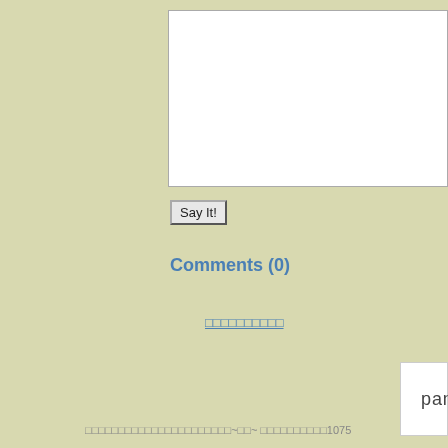[Figure (other): White text input/textarea box]
Say It!
Comments (0)
□□□□□□□□□□
[Figure (other): Pandocoro x F logo banner with bread icon]
□□□□□□□□□□□□□□□□□□□□□□~□□~ □□□□□□□□□□1075